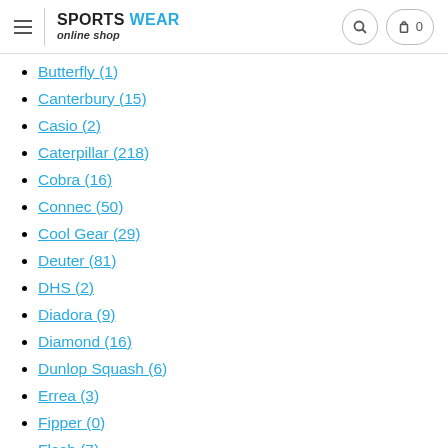SPORTS WEAR online shop — navigation header
Butterfly (1)
Canterbury (15)
Casio (2)
Caterpillar (218)
Cobra (16)
Connec (50)
Cool Gear (29)
Deuter (81)
DHS (2)
Diadora (9)
Diamond (16)
Dunlop Squash (6)
Errea (3)
Fipper (0)
Flash (7)